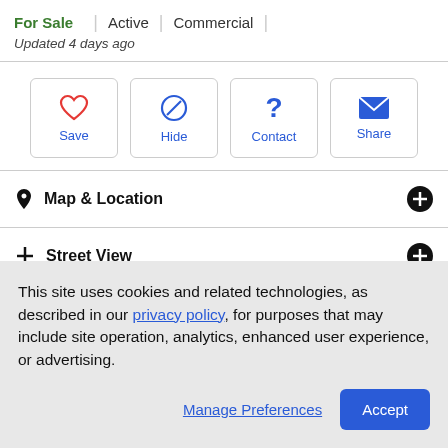For Sale | Active | Commercial
Updated 4 days ago
[Figure (screenshot): Four action buttons: Save (heart icon), Hide (circle-slash icon), Contact (question mark icon), Share (envelope icon)]
Map & Location
Street View
This site uses cookies and related technologies, as described in our privacy policy, for purposes that may include site operation, analytics, enhanced user experience, or advertising.
Manage Preferences | Accept